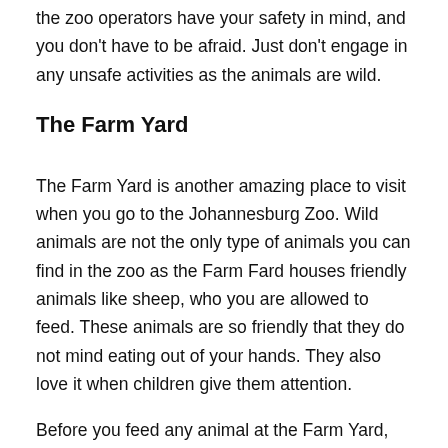the zoo operators have your safety in mind, and you don't have to be afraid. Just don't engage in any unsafe activities as the animals are wild.
The Farm Yard
The Farm Yard is another amazing place to visit when you go to the Johannesburg Zoo. Wild animals are not the only type of animals you can find in the zoo as the Farm Fard houses friendly animals like sheep, who you are allowed to feed. These animals are so friendly that they do not mind eating out of your hands. They also love it when children give them attention.
Before you feed any animal at the Farm Yard, be